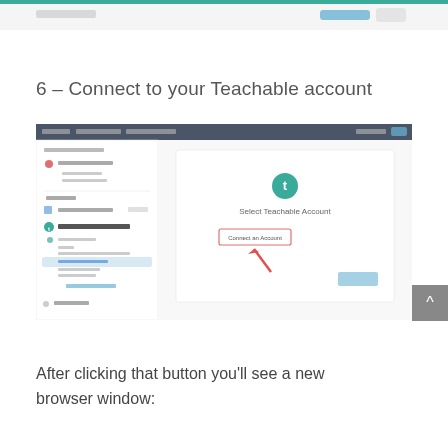[Figure (screenshot): Top partial screenshot of a web interface with a teal/green header bar and navigation elements]
6 – Connect to your Teachable account
[Figure (screenshot): Screenshot of a Teachable account integration page showing a sidebar menu with course items and a main panel with 'Select Teachable Account' dialog and a 'Connect an Account' button with a red arrow pointing to it. There is also a gray scroll-to-top button with a caret.]
After clicking that button you'll see a new browser window: